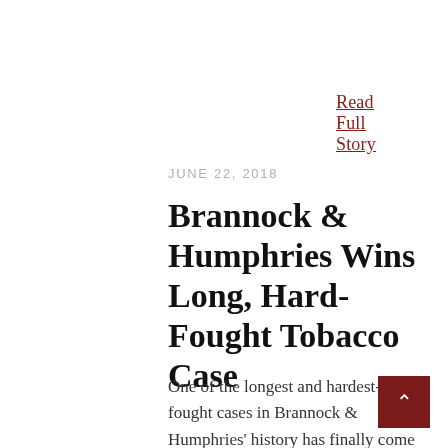Read Full Story
JUNE 22, 2018
Brannock & Humphries Wins Long, Hard-Fought Tobacco Case
One of the longest and hardest-fought cases in Brannock & Humphries' history has finally come to an end, with the decision by tobacco companies R.J. Reynolds and Philip Morris to abandon attempts at